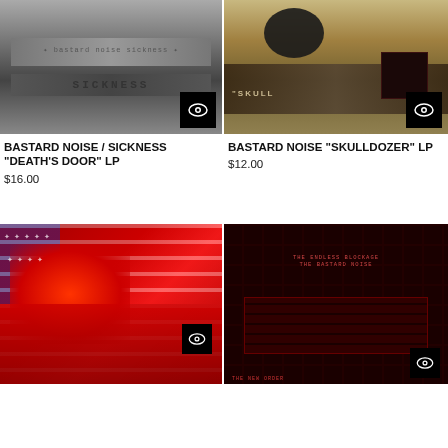[Figure (photo): Blurry greyscale album cover for Bastard Noise / Sickness, showing text 'SICKNESS' on a grey background]
BASTARD NOISE / SICKNESS "DEATH'S DOOR" LP
$16.00
[Figure (photo): Sepia-toned album cover showing a skull, rubble/debris, and text 'SKULL' for Bastard Noise Skulldozer LP]
BASTARD NOISE "SKULLDOZER" LP
$12.00
[Figure (photo): High-contrast red and blue album cover with American flag motif and red blotches]
[Figure (photo): Dark crimson album cover with grid pattern and text 'THE ENDLESS BLOCKAGE / THE BASTARD NOISE']